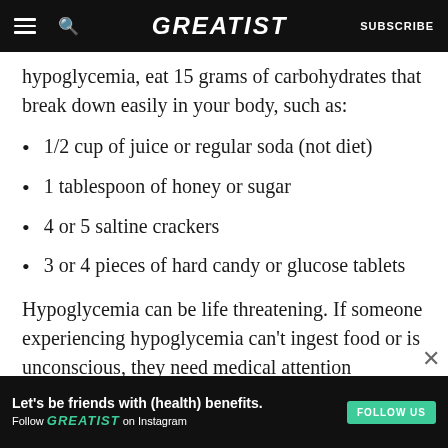GREATIST | SUBSCRIBE
if you think you may be experiencing hypoglycemia, eat 15 grams of carbohydrates that break down easily in your body, such as:
1/2 cup of juice or regular soda (not diet)
1 tablespoon of honey or sugar
4 or 5 saltine crackers
3 or 4 pieces of hard candy or glucose tablets
Hypoglycemia can be life threatening. If someone experiencing hypoglycemia can't ingest food or is unconscious, they need medical attention
ADVERTISEMENT
Let's be friends with (health) benefits. Follow GREATIST on Instagram — FOLLOW US